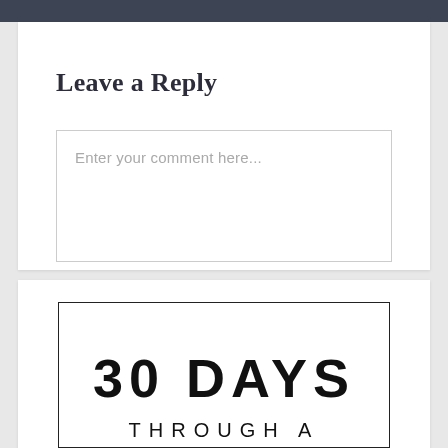Leave a Reply
Enter your comment here...
[Figure (illustration): Book cover showing '30 DAYS THROUGH A CRISIS' with large bold typography on white background with black border. Bottom portion of cover is visible showing 'CRISIS' text partially cut off.]